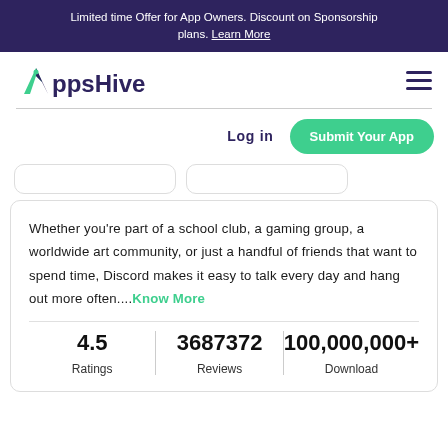Limited time Offer for App Owners. Discount on Sponsorship plans. Learn More
[Figure (logo): AppsHive logo with green arrow/hive icon and dark purple text, hamburger menu icon on the right]
Log in
Submit Your App
Whether you're part of a school club, a gaming group, a worldwide art community, or just a handful of friends that want to spend time, Discord makes it easy to talk every day and hang out more often....Know More
| Ratings | Reviews | Download |
| --- | --- | --- |
| 4.5 | 3687372 | 100,000,000+ |